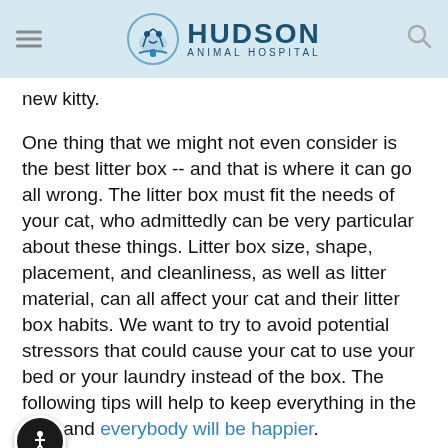Hudson Animal Hospital
new kitty.
One thing that we might not even consider is the best litter box -- and that is where it can go all wrong. The litter box must fit the needs of your cat, who admittedly can be very particular about these things. Litter box size, shape, placement, and cleanliness, as well as litter material, can all affect your cat and their litter box habits. We want to try to avoid potential stressors that could cause your cat to use your bed or your laundry instead of the box. The following tips will help to keep everything in the box, and everybody will be happier.
The Magic Number